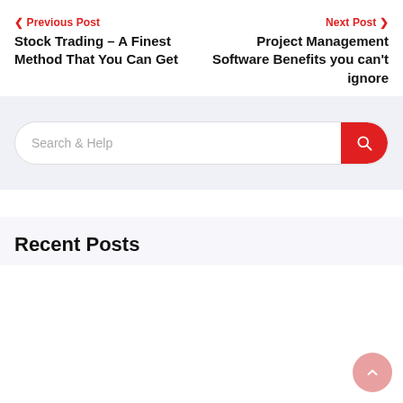< Previous Post
Stock Trading – A Finest Method That You Can Get
Next Post >
Project Management Software Benefits you can't ignore
Search & Help
Recent Posts